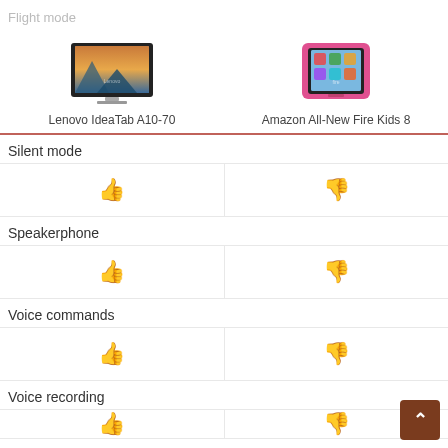Flight mode
[Figure (photo): Lenovo IdeaTab A10-70 tablet device image]
Lenovo IdeaTab A10-70
[Figure (photo): Amazon All-New Fire Kids 8 tablet device image with pink case]
Amazon All-New Fire Kids 8
| Feature | Lenovo IdeaTab A10-70 | Amazon All-New Fire Kids 8 |
| --- | --- | --- |
| Silent mode | 👍 (yes) | 👎 (no) |
| Speakerphone | 👍 (yes) | 👎 (no) |
| Voice commands | 👍 (yes) | 👎 (no) |
| Voice recording | 👍 (yes) | 👎 (no) |